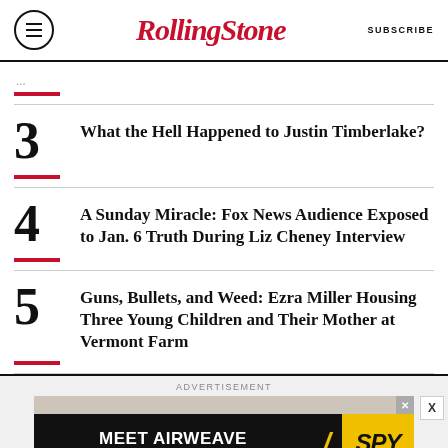Rolling Stone | SUBSCRIBE
3 What the Hell Happened to Justin Timberlake?
4 A Sunday Miracle: Fox News Audience Exposed to Jan. 6 Truth During Liz Cheney Interview
5 Guns, Bullets, and Weed: Ezra Miller Housing Three Young Children and Their Mother at Vermont Farm
[Figure (other): Advertisement banner: MEET AIRWEAVE - MODULAR, WASHABLE MATTRESS with SPY logo]